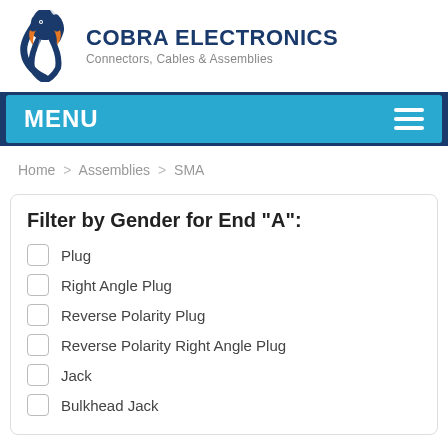[Figure (logo): Cobra Electronics logo with cobra snake graphic and text 'COBRA ELECTRONICS Connectors, Cables & Assemblies']
MENU
Home > Assemblies > SMA
Filter by Gender for End "A":
Plug
Right Angle Plug
Reverse Polarity Plug
Reverse Polarity Right Angle Plug
Jack
Bulkhead Jack